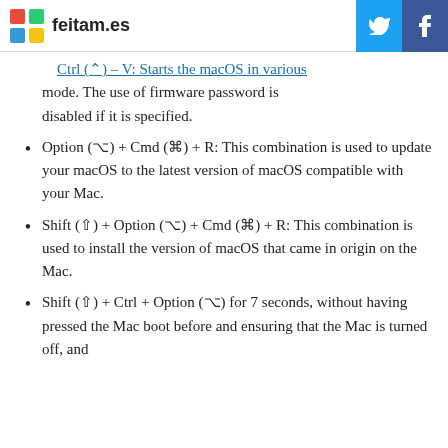feitam.es
Ctrl (⌃) – V: Starts the macOS in various mode. The use of firmware password is disabled if it is specified.
Option (⌥) + Cmd (⌘) + R: This combination is used to update your macOS to the latest version of macOS compatible with your Mac.
Shift (⇧) + Option (⌥) + Cmd (⌘) + R: This combination is used to install the version of macOS that came in origin on the Mac.
Shift (⇧) + Ctrl + Option (⌥) for 7 seconds, without having pressed the Mac boot before and ensuring that the Mac is turned off, and